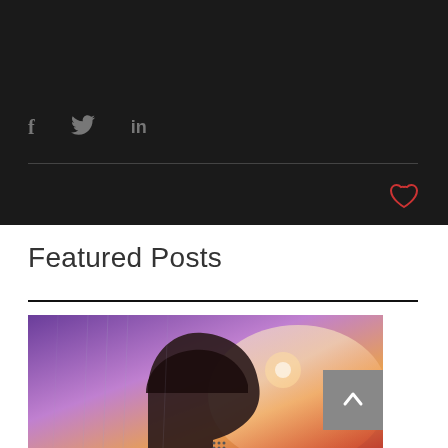[Figure (screenshot): Dark section of a webpage with social sharing icons (Facebook, Twitter, LinkedIn) and a heart/like button]
Featured Posts
[Figure (photo): Artistic double-exposure photo of a person's silhouette head profile against a purple and orange glowing background, with a scroll-to-top button overlay]